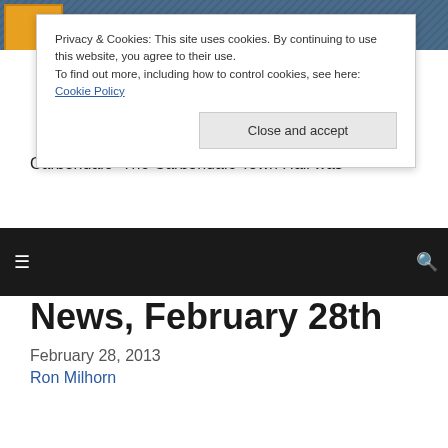[Figure (screenshot): Website header banner with denim-textured blue background and orange logo box on the left]
Privacy & Cookies: This site uses cookies. By continuing to use this website, you agree to their use.
To find out more, including how to control cookies, see here:
Cookie Policy
Close and accept
☰
🔍
News, February 28th
February 28, 2013
Ron Milhorn
Carbondale–The Carbondale Town Hall was